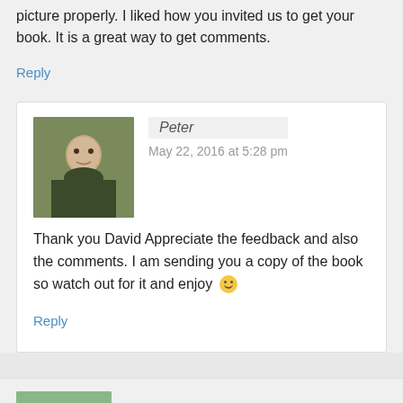picture properly. I liked how you invited us to get your book. It is a great way to get comments.
Reply
Peter
May 22, 2016 at 5:28 pm
Thank you David Appreciate the feedback and also the comments. I am sending you a copy of the book so watch out for it and enjoy 🙂
Reply
Alec Terry
May 20, 2016 at 7:47 am